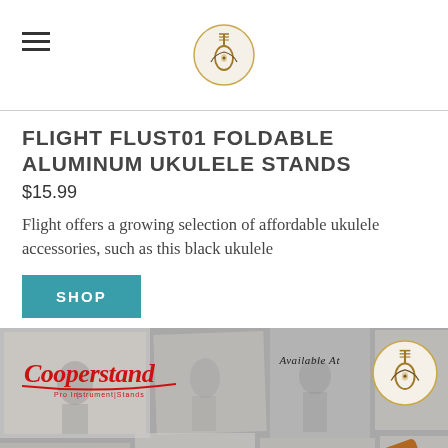[Navigation header with hamburger menu and site logo]
FLIGHT FLUST01 FOLDABLE ALUMINUM UKULELE STANDS
$15.99
Flight offers a growing selection of affordable ukulele accessories, such as this black ukulele
SHOP
[Figure (photo): Product photo showing ukulele stands (Cooperstand brand) on a vintage collage background with old black and white photos. Text reads 'Available At' with the site logo. Multiple folding wooden ukulele stands visible in foreground.]